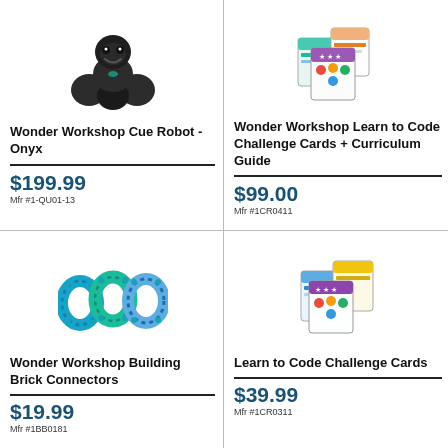[Figure (photo): Wonder Workshop Cue Robot - Onyx, a small black robot with smiley face]
Wonder Workshop Cue Robot - Onyx
$199.99
Mfr #1-QU01-13
[Figure (photo): Wonder Workshop Learn to Code Challenge Cards + Curriculum Guide, colorful card boxes]
Wonder Workshop Learn to Code Challenge Cards + Curriculum Guide
$99.00
Mfr #1CR0411
[Figure (photo): Wonder Workshop Building Brick Connectors, blue plastic brick connectors]
Wonder Workshop Building Brick Connectors
$19.99
Mfr #1BB0181
[Figure (photo): Learn to Code Challenge Cards, colorful card boxes]
Learn to Code Challenge Cards
$39.99
Mfr #1CR0311